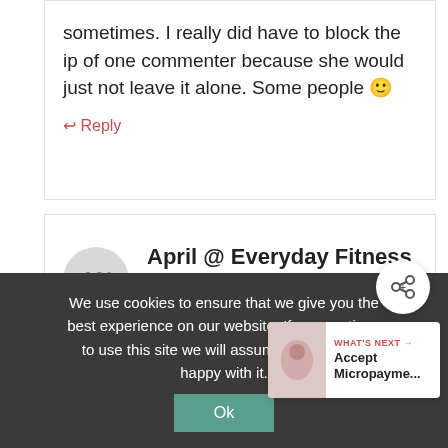sometimes. I really did have to block the ip of one commenter because she would just not leave it alone. Some people 🙂
↩ Reply
April @ Everyday Fitness and Nutrition
January 16, 2015 at 05:22 PM
We use cookies to ensure that we give you the best experience on our website. If you continue to use this site we will assume that you are happy with it.
Ok
WHAT'S NEXT → Accept Micropayme...